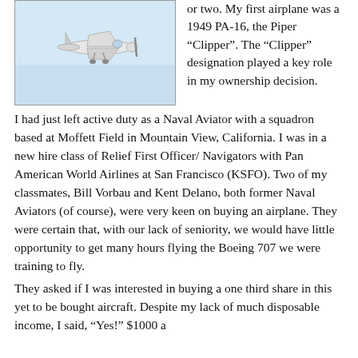[Figure (photo): Photo of a small airplane (appears to be a Piper) in flight against a light blue sky, viewed from below/side.]
or two. My first airplane was a 1949 PA-16, the Piper “Clipper”. The “Clipper” designation played a key role in my ownership decision.
I had just left active duty as a Naval Aviator with a squadron based at Moffett Field in Mountain View, California. I was in a new hire class of Relief First Officer/ Navigators with Pan American World Airlines at San Francisco (KSFO). Two of my classmates, Bill Vorbau and Kent Delano, both former Naval Aviators (of course), were very keen on buying an airplane. They were certain that, with our lack of seniority, we would have little opportunity to get many hours flying the Boeing 707 we were training to fly.
They asked if I was interested in buying a one third share in this yet to be bought aircraft. Despite my lack of much disposable income, I said, “Yes!” $1000 a